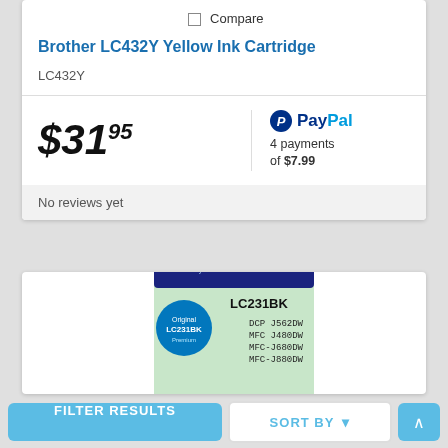Compare
Brother LC432Y Yellow Ink Cartridge
LC432Y
$31.95
PayPal 4 payments of $7.99
No reviews yet
[Figure (photo): Brother LC231BK Black Ink Cartridge product box showing compatible printers: DCP J562DW, MFC J480DW, MFC J680DW, MFC J880DW]
FILTER RESULTS
SORT BY
^